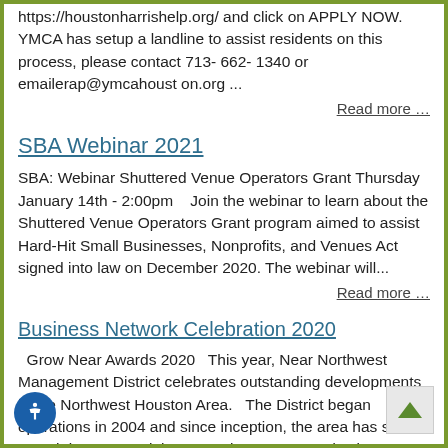https://houstonharrishelp.org/ and click on APPLY NOW. YMCA has setup a landline to assist residents on this process, please contact 713- 662- 1340 or emailerap@ymcahouston.org ...
Read more ...
SBA Webinar 2021
SBA: Webinar Shuttered Venue Operators Grant Thursday January 14th - 2:00pm   Join the webinar to learn about the Shuttered Venue Operators Grant program aimed to assist Hard-Hit Small Businesses, Nonprofits, and Venues Act signed into law on December 2020. The webinar will...
Read more ...
Business Network Celebration 2020
Grow Near Awards 2020  This year, Near Northwest Management District celebrates outstanding developments in the Northwest Houston Area.  The District began operations in 2004 and since inception, the area has seen a growth in commercial property investment, reduction...